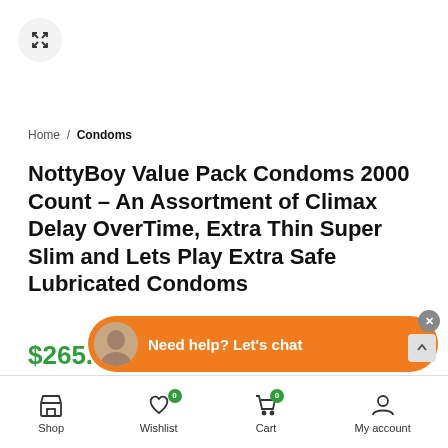[Figure (screenshot): Expand/fullscreen button icon (two arrows pointing outward) in a circular grey button]
Home / Condoms
NottyBoy Value Pack Condoms 2000 Count – An Assortment of Climax Delay OverTime, Extra Thin Super Slim and Lets Play Extra Safe Lubricated Condoms
$265.99
• Included Items – 2000 condoms supplied as 680 LETSPLAY Extra Lubricated + 660 SUPERSLIM Extra Thin + 660 OVERTIME Condoms With Dela
• Premium Range: ...ity
[Figure (screenshot): Chat widget overlay: orange pill-shaped button with avatar and text 'Need help? Let's chat', with a close X button]
Shop  Wishlist  Cart  My account